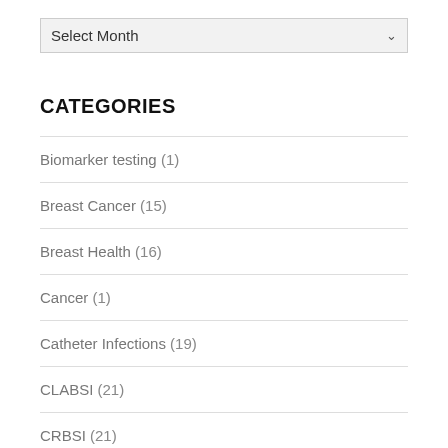[Figure (screenshot): Dropdown select box labeled 'Select Month' with a chevron arrow on the right]
CATEGORIES
Biomarker testing (1)
Breast Cancer (15)
Breast Health (16)
Cancer (1)
Catheter Infections (19)
CLABSI (21)
CRBSI (21)
FDA (2)
Healthcare Information Technology (14)